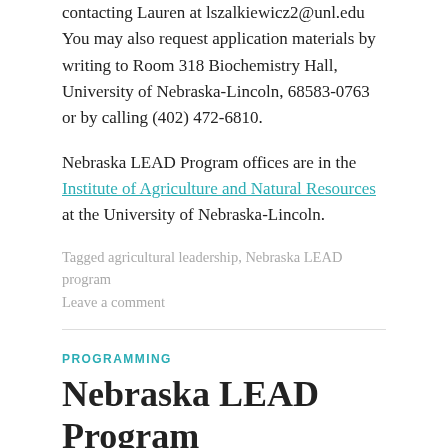contacting Lauren at lszalkiewicz2@unl.edu  You may also request application materials by writing to Room 318 Biochemistry Hall, University of Nebraska-Lincoln, 68583-0763 or by calling (402) 472-6810.
Nebraska LEAD Program offices are in the Institute of Agriculture and Natural Resources at the University of Nebraska-Lincoln.
Tagged agricultural leadership, Nebraska LEAD program
Leave a comment
PROGRAMMING
Nebraska LEAD Program
March 21, 2014   Brandy VanDeWalle